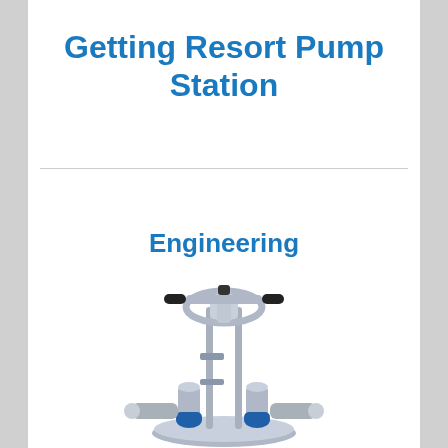Getting Resort Pump Station
Engineering
[Figure (illustration): 3D rendering of a submersible pump station assembly with dual submersible pumps on a circular base, vertical guide rails, and a top handle/operator wheel. Components include gray cylindrical frame, blue pump motors at the base, and outlet pipes.]